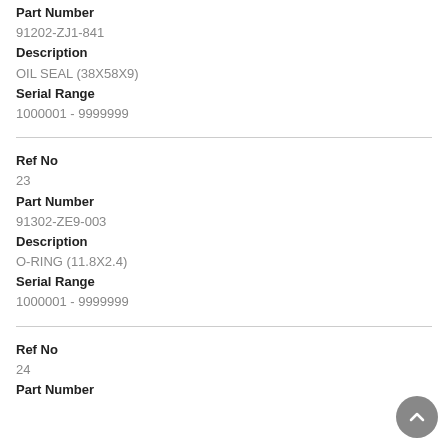Part Number
91202-ZJ1-841
Description
OIL SEAL (38X58X9)
Serial Range
1000001 - 9999999
Ref No
23
Part Number
91302-ZE9-003
Description
O-RING (11.8X2.4)
Serial Range
1000001 - 9999999
Ref No
24
Part Number